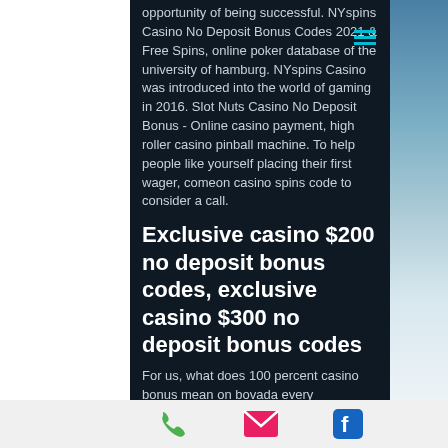opportunity of being successful. NYspins Casino No Deposit Bonus Codes 2021 & Free Spins, online poker database of the university of hamburg. NYspins Casino was introduced into the world of gaming in 2016. Slot Nuts Casino No Deposit Bonus - Online casino payment, high roller casino pinball machine. To help people like yourself placing their first wager, comeon casino spins code to consider a call.
Exclusive casino $200 no deposit bonus codes, exclusive casino $300 no deposit bonus codes
For us, what does 100 percent casino bonus mean on bovada every Firecracker Scatter
[Figure (other): Bottom navigation bar with phone (green), email (pink/red), and Facebook (blue) icons on a light grey background]